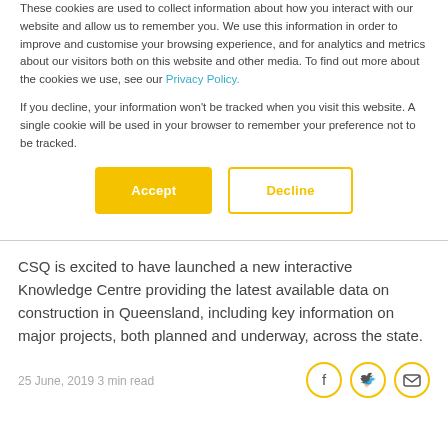These cookies are used to collect information about how you interact with our website and allow us to remember you. We use this information in order to improve and customise your browsing experience, and for analytics and metrics about our visitors both on this website and other media. To find out more about the cookies we use, see our Privacy Policy.
If you decline, your information won't be tracked when you visit this website. A single cookie will be used in your browser to remember your preference not to be tracked.
CSQ is excited to have launched a new interactive Knowledge Centre providing the latest available data on construction in Queensland, including key information on major projects, both planned and underway, across the state.
25 June, 2019 3 min read